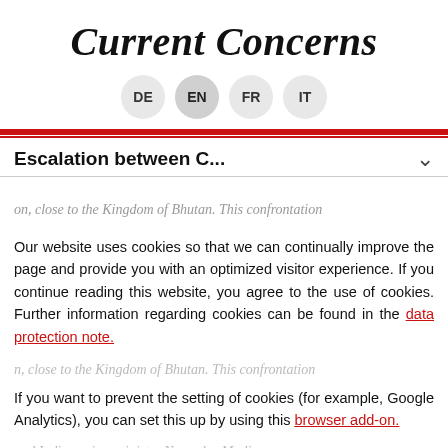Current Concerns
DE  EN  FR  IT
Escalation between C...
Our website uses cookies so that we can continually improve the page and provide you with an optimized visitor experience. If you continue reading this website, you agree to the use of cookies. Further information regarding cookies can be found in the data protection note.
If you want to prevent the setting of cookies (for example, Google Analytics), you can set this up by using this browser add-on.
OK